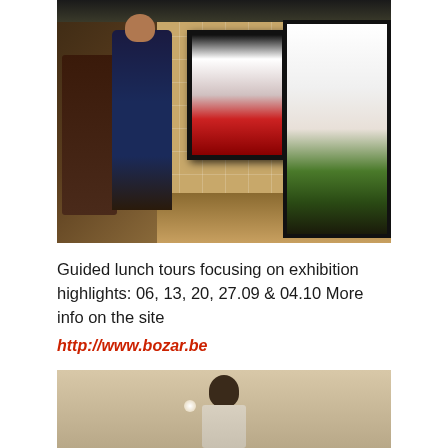[Figure (photo): Gallery interior showing two people viewing large framed photographs on tiled walls. One person in a blue shirt gestures while speaking. The framed artwork includes a portrait with dramatic makeup and a figure in white robes.]
Guided lunch tours focusing on exhibition highlights: 06, 13, 20, 27.09 & 04.10 More info on the site http://www.bozar.be
[Figure (photo): Black and white or sepia-toned photograph of a smiling young man in light-colored clothing, with a small white orb/sphere visible in the background.]